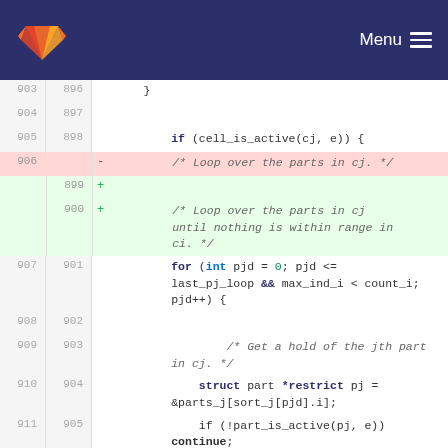GitLab Menu
Code diff view showing lines 896-907 of a C source file with modifications to loop comment
903 896     }
904 897     (empty)
905 898     if (cell_is_active(cj, e)) {
906 [deleted] -    /* Loop over the parts in cj. */
899 +
900 +    /* Loop over the parts in cj until nothing is within range in ci. */
907 901         for (int pjd = 0; pjd <= last_pj_loop && max_ind_i < count_i; pjd++) {
908 902     (empty)
909 903         /* Get a hold of the jth part in cj. */
910 904         struct part *restrict pj = &parts_j[sort_j[pjd].i];
911 905         if (!part_is_active(pj, e)) continue;
912 906     (empty)
907 +    /* Set the cache index. */